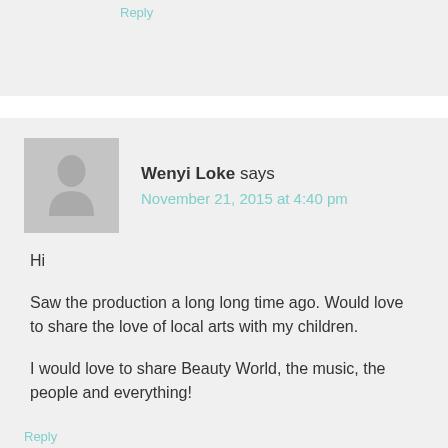Reply
Wenyi Loke says
November 21, 2015 at 4:40 pm
Hi
Saw the production a long long time ago. Would love to share the love of local arts with my children.
I would love to share Beauty World, the music, the people and everything!
Reply